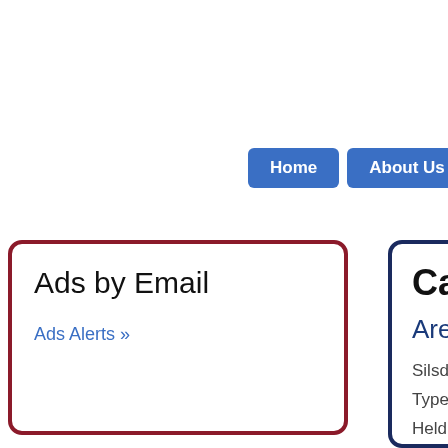Home | About Us
Ads by Email
Ads Alerts »
Carboots in
Are you looking
SilsdenRiverside Field, K
Type Outdoor
Held on Sunday
Seller start time 07.00am
Buyer arrival time 07.00a